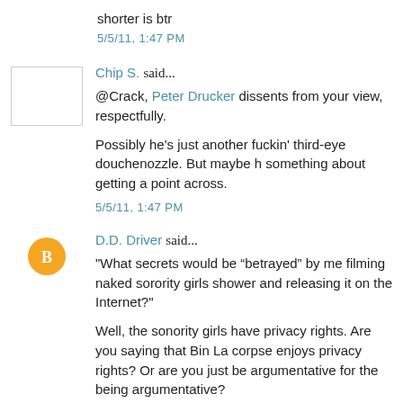shorter is btr
5/5/11, 1:47 PM
Chip S. said...
@Crack, Peter Drucker dissents from your view, respectfully.
Possibly he's just another fuckin' third-eye douchenozzle. But maybe something about getting a point across.
5/5/11, 1:47 PM
D.D. Driver said...
"What secrets would be “betrayed” by me filming naked sorority girls shower and releasing it on the Internet?"
Well, the sonority girls have privacy rights. Are you saying that Bin La corpse enjoys privacy rights? Or are you just be argumentative for the being argumentative?
5/5/11, 1:47 PM